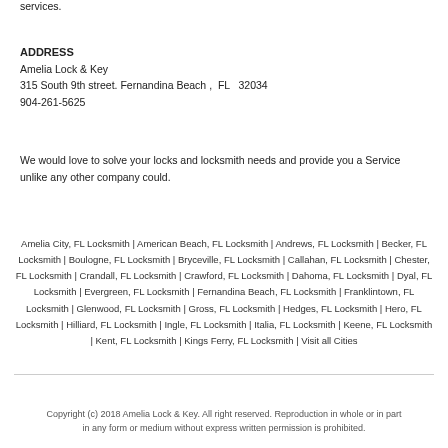services.
ADDRESS
Amelia Lock & Key
315 South 9th street. Fernandina Beach ,  FL   32034
904-261-5625
We would love to solve your locks and locksmith needs and provide you a Service unlike any other company could.
Amelia City, FL Locksmith | American Beach, FL Locksmith | Andrews, FL Locksmith | Becker, FL Locksmith | Boulogne, FL Locksmith | Bryceville, FL Locksmith | Callahan, FL Locksmith | Chester, FL Locksmith | Crandall, FL Locksmith | Crawford, FL Locksmith | Dahoma, FL Locksmith | Dyal, FL Locksmith | Evergreen, FL Locksmith | Fernandina Beach, FL Locksmith | Franklintown, FL Locksmith | Glenwood, FL Locksmith | Gross, FL Locksmith | Hedges, FL Locksmith | Hero, FL Locksmith | Hilliard, FL Locksmith | Ingle, FL Locksmith | Italia, FL Locksmith | Keene, FL Locksmith | Kent, FL Locksmith | Kings Ferry, FL Locksmith | Visit all Cities
Copyright (c) 2018 Amelia Lock & Key. All right reserved. Reproduction in whole or in part in any form or medium without express written permission is prohibited.